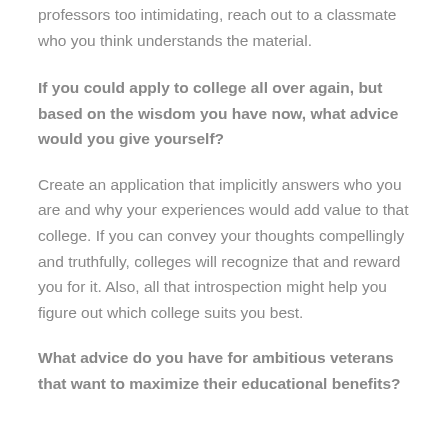professors too intimidating, reach out to a classmate who you think understands the material.
If you could apply to college all over again, but based on the wisdom you have now, what advice would you give yourself?
Create an application that implicitly answers who you are and why your experiences would add value to that college. If you can convey your thoughts compellingly and truthfully, colleges will recognize that and reward you for it. Also, all that introspection might help you figure out which college suits you best.
What advice do you have for ambitious veterans that want to maximize their educational benefits?